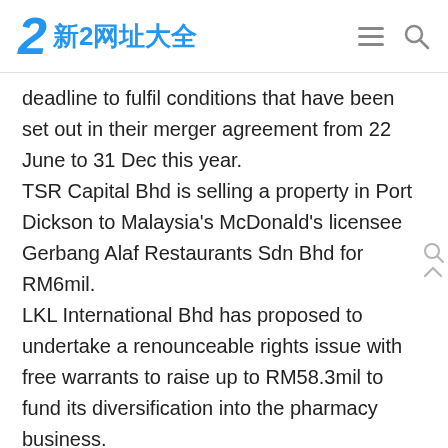新2网址大全
deadline to fulfil conditions that have been set out in their merger agreement from 22 June to 31 Dec this year. TSR Capital Bhd is selling a property in Port Dickson to Malaysia's McDonald's licensee Gerbang Alaf Restaurants Sdn Bhd for RM6mil. LKL International Bhd has proposed to undertake a renounceable rights issue with free warrants to raise up to RM58.3mil to fund its diversification into the pharmacy business. Meanwhile, JF Apex said the FBM KLCI could remain pressured with support at 1,450 points following the recent uncertainty. The US market ended mixed on Friday with the Dow declining slightly while the S&P and Nasdaq climbed amid